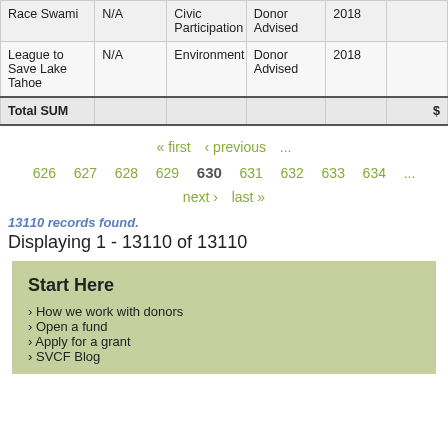|  |  |  |  |  |  |
| --- | --- | --- | --- | --- | --- |
| Race Swami | N/A | Civic Participation | Donor Advised | 2018 |  |
| League to Save Lake Tahoe | N/A | Environment | Donor Advised | 2018 |  |
| Total SUM |  |  |  |  | $ |
« first  ‹ previous  ...  626  627  628  629  630  631  632  633  634  ...  next ›  last »
13110 records found.
Displaying 1 - 13110 of 13110
Start Here
How we work with donors
Open a fund
Apply for a grant
SVCF Blog